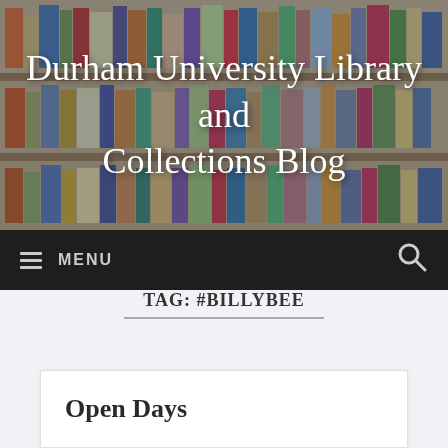[Figure (photo): Library bookshelf background image with rows of colorful book spines on wooden shelves]
Durham University Library and Collections Blog
≡ MENU
TAG: #BILLYBEE
Open Days